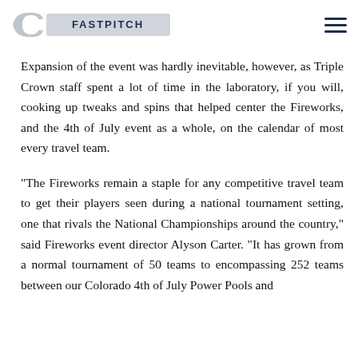TC Fastpitch logo and navigation menu
Expansion of the event was hardly inevitable, however, as Triple Crown staff spent a lot of time in the laboratory, if you will, cooking up tweaks and spins that helped center the Fireworks, and the 4th of July event as a whole, on the calendar of most every travel team.
“The Fireworks remain a staple for any competitive travel team to get their players seen during a national tournament setting, one that rivals the National Championships around the country,” said Fireworks event director Alyson Carter. “It has grown from a normal tournament of 50 teams to encompassing 252 teams between our Colorado 4th of July Power Pools and